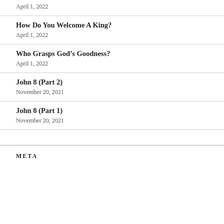April 1, 2022
How Do You Welcome A King?
April 1, 2022
Who Grasps God’s Goodness?
April 1, 2022
John 8 (Part 2)
November 20, 2021
John 8 (Part 1)
November 20, 2021
META